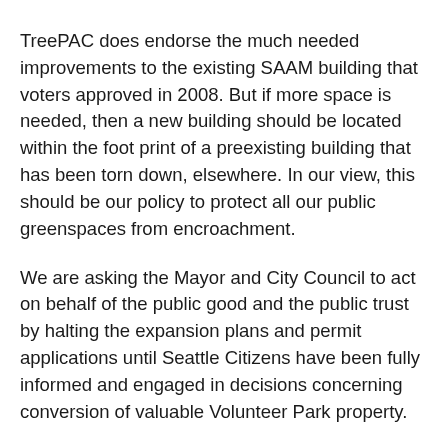TreePAC does endorse the much needed improvements to the existing SAAM building that voters approved in 2008. But if more space is needed, then a new building should be located within the foot print of a preexisting building that has been torn down, elsewhere. In our view, this should be our policy to protect all our public greenspaces from encroachment.
We are asking the Mayor and City Council to act on behalf of the public good and the public trust by halting the expansion plans and permit applications until Seattle Citizens have been fully informed and engaged in decisions concerning conversion of valuable Volunteer Park property.
Once public green space is gone, it is gone for good.